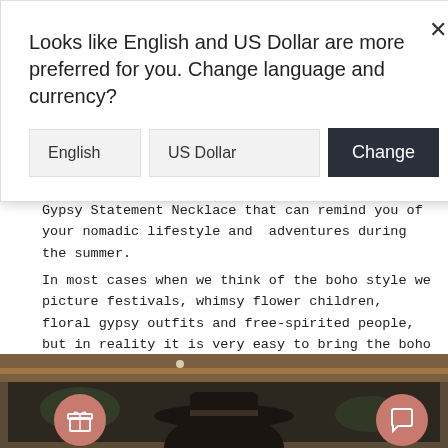Looks like English and US Dollar are more preferred for you. Change language and currency?
English   US Dollar   Change
Gypsy Statement Necklace that can remind you of your nomadic lifestyle and  adventures during the summer.
In most cases when we think of the boho style we picture festivals, whimsy flower children, floral gypsy outfits and free-spirited people, but in reality it is very easy to bring the boho vibes in your everyday urban styles.
[Figure (photo): Person wearing a black wide-brim hat photographed from behind, in front of a wooden-framed mirror or window, with greenery visible in background. Two circular icon buttons (gift and chat) overlaid at bottom corners.]